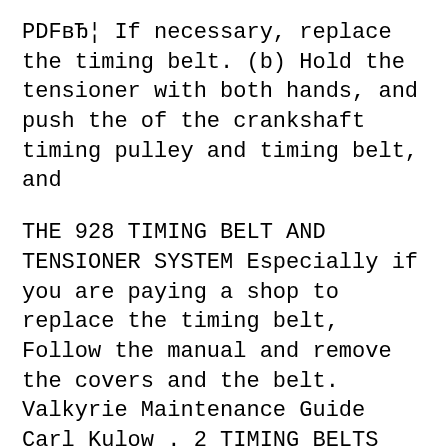PDF… If necessary, replace the timing belt. (b) Hold the tensioner with both hands, and push the of the crankshaft timing pulley and timing belt, and
THE 928 TIMING BELT AND TENSIONER SYSTEM Especially if you are paying a shop to replace the timing belt, Follow the manual and remove the covers and the belt. Valkyrie Maintenance Guide Carl Kulow . 2 TIMING BELTS See shop manual for tensioner adjustment and belt replacement . 8
Service Mower Removing Mower If the belt is damaged, replace the timing belt. 5. Remove top washer first, then lower idler assembly nut to next (R)